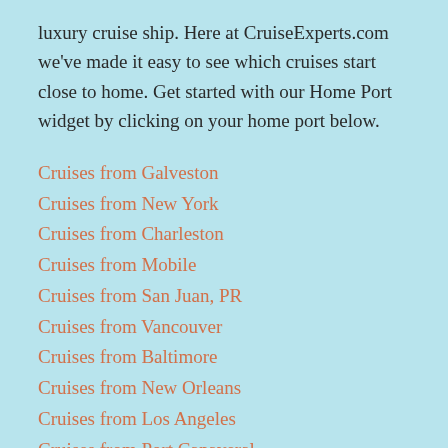luxury cruise ship. Here at CruiseExperts.com we've made it easy to see which cruises start close to home. Get started with our Home Port widget by clicking on your home port below.
Cruises from Galveston
Cruises from New York
Cruises from Charleston
Cruises from Mobile
Cruises from San Juan, PR
Cruises from Vancouver
Cruises from Baltimore
Cruises from New Orleans
Cruises from Los Angeles
Cruises from Port Canaveral
Cruises from Seward
Cruises from Bayonne/C. Liberty